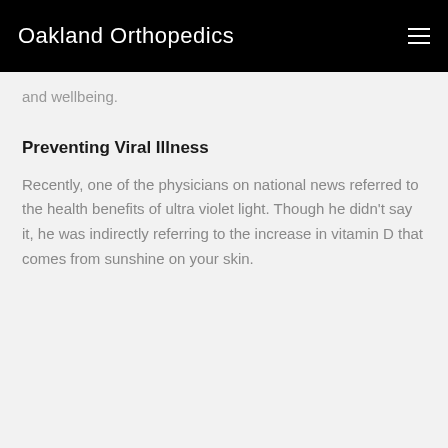Oakland Orthopedics
and wellbeing.
Preventing Viral Illness
Recently, one of the physicians on national news referred to the health benefits of ultra violet light. Though he didn't say it, he was indirectly referring to the increase in vitamin D that comes from sunshine on your skin.